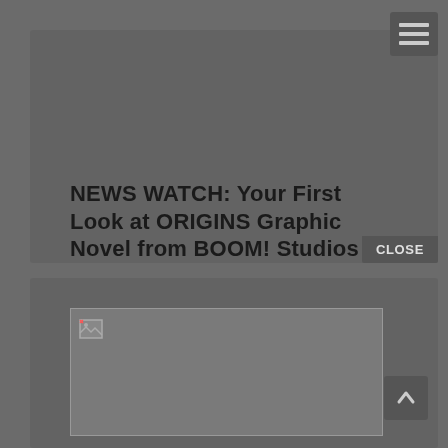[Figure (screenshot): Hamburger menu icon (three horizontal lines) in top-right corner]
NEWS WATCH: Your First Look at ORIGINS Graphic Novel from BOOM! Studios
By Jon Benson · March 2, 2020
All Star Creative Team Presents New Original Graphic Novel About Life After Humans in October 2020
Details ▶
CLOSE
[Figure (photo): Broken/loading image placeholder in bottom card section]